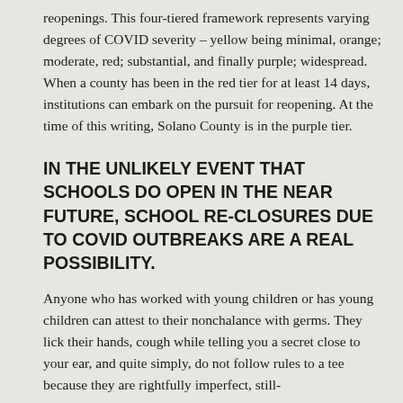reopenings. This four-tiered framework represents varying degrees of COVID severity – yellow being minimal, orange; moderate, red; substantial, and finally purple; widespread. When a county has been in the red tier for at least 14 days, institutions can embark on the pursuit for reopening. At the time of this writing, Solano County is in the purple tier.
IN THE UNLIKELY EVENT THAT SCHOOLS DO OPEN IN THE NEAR FUTURE, SCHOOL RE-CLOSURES DUE TO COVID OUTBREAKS ARE A REAL POSSIBILITY.
Anyone who has worked with young children or has young children can attest to their nonchalance with germs. They lick their hands, cough while telling you a secret close to your ear, and quite simply, do not follow rules to a tee because they are rightfully imperfect, still-